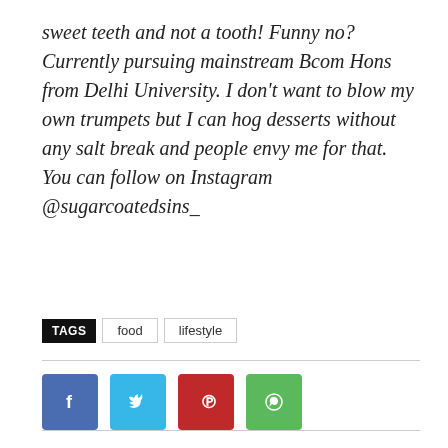sweet teeth and not a tooth! Funny no? Currently pursuing mainstream Bcom Hons from Delhi University. I don't want to blow my own trumpets but I can hog desserts without any salt break and people envy me for that. You can follow on Instagram @sugarcoatedsins_
TAGS  food  lifestyle
[Figure (other): Social media share buttons: Facebook (blue), Twitter (light blue), Pinterest (red), WhatsApp (green)]